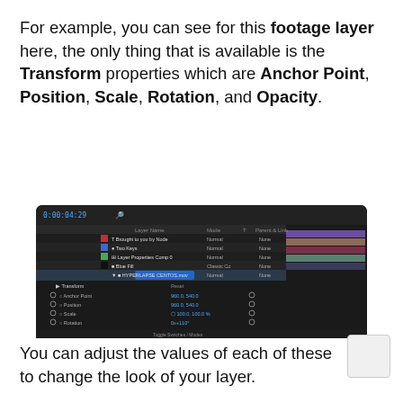For example, you can see for this footage layer here, the only thing that is available is the Transform properties which are Anchor Point, Position, Scale, Rotation, and Opacity.
[Figure (screenshot): After Effects timeline panel showing a footage layer with Transform properties expanded: Anchor Point, Position, Scale, Rotation, and Opacity visible with their values.]
You can adjust the values of each of these to change the look of your layer.